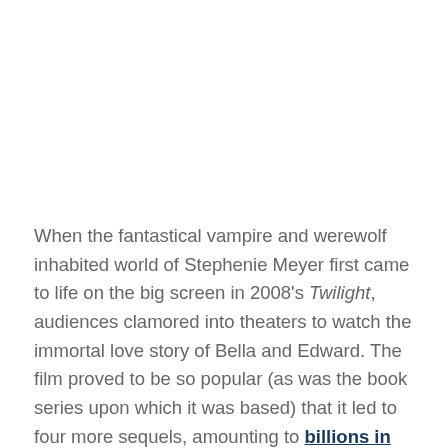When the fantastical vampire and werewolf inhabited world of Stephenie Meyer first came to life on the big screen in 2008's Twilight, audiences clamored into theaters to watch the immortal love story of Bella and Edward. The film proved to be so popular (as was the book series upon which it was based) that it led to four more sequels, amounting to billions in worldwide receipts combined at the box office.